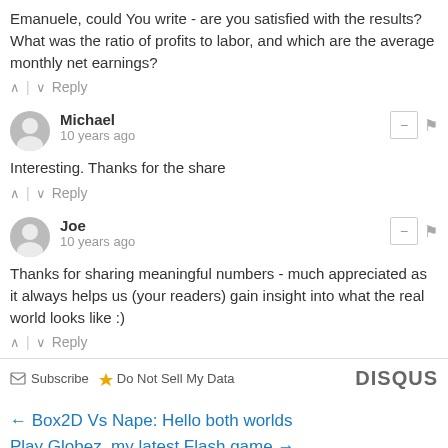Emanuele, could You write - are you satisfied with the results? What was the ratio of profits to labor, and which are the average monthly net earnings?
^ | v Reply
Michael
10 years ago
Interesting. Thanks for the share
^ | v Reply
Joe
10 years ago
Thanks for sharing meaningful numbers - much appreciated as it always helps us (your readers) gain insight into what the real world looks like :)
^ | v Reply
Subscribe  Do Not Sell My Data   DISQUS
← Box2D Vs Nape: Hello both worlds
Play Globez, my latest Flash game →